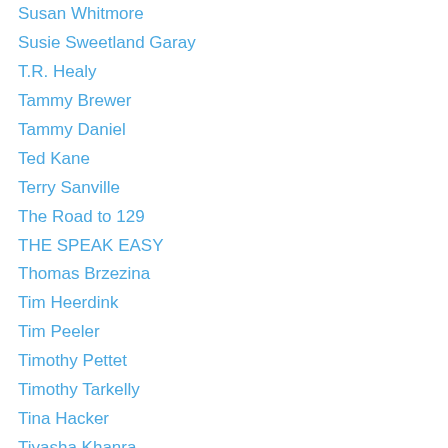Susan Whitmore
Susie Sweetland Garay
T.R. Healy
Tammy Brewer
Tammy Daniel
Ted Kane
Terry Sanville
The Road to 129
THE SPEAK EASY
Thomas Brzezina
Tim Heerdink
Tim Peeler
Timothy Pettet
Timothy Tarkelly
Tina Hacker
Tiyasha Khanra
tj jude
Todd Moore
Tohm Bakelas
Tom Hatch